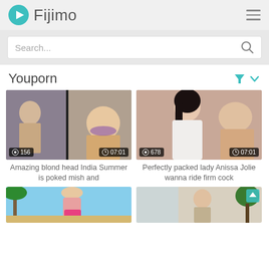Fijimo
Search...
Youporn
[Figure (screenshot): Video thumbnail showing two people; views: 156, duration: 07:01]
Amazing blond head India Summer is poked mish and
[Figure (screenshot): Video thumbnail showing a dark-haired woman; views: 678, duration: 07:01]
Perfectly packed lady Anissa Jolie wanna ride firm cock
[Figure (screenshot): Partial video thumbnail showing woman in bikini outdoors]
[Figure (screenshot): Partial video thumbnail showing woman indoors with plants]